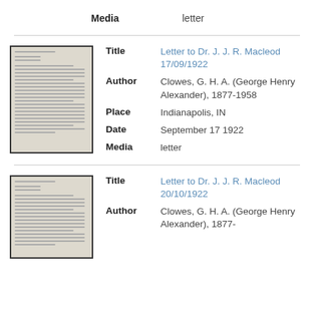Media	letter
[Figure (photo): Thumbnail of a typed letter document]
Title: Letter to Dr. J. J. R. Macleod 17/09/1922
Author: Clowes, G. H. A. (George Henry Alexander), 1877-1958
Place: Indianapolis, IN
Date: September 17 1922
Media: letter
[Figure (photo): Thumbnail of a typed letter document]
Title: Letter to Dr. J. J. R. Macleod 20/10/1922
Author: Clowes, G. H. A. (George Henry Alexander), 1877-